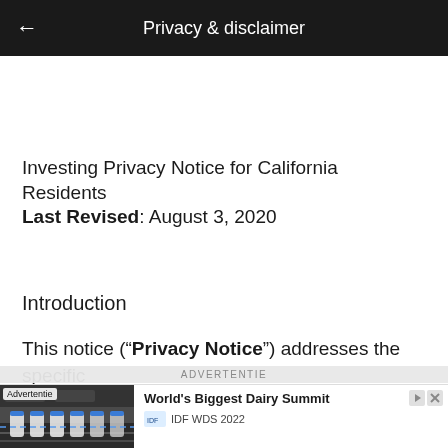Privacy & disclaimer
Investing Privacy Notice for California Residents
Last Revised: August 3, 2020
Introduction
This notice (“Privacy Notice”) addresses the specific
[Figure (screenshot): Advertisement banner for World’s Biggest Dairy Summit / IDF WDS 2022, with a photo of a dairy bottling factory on the left and text 'World’s Biggest Dairy Summit', 'IDF WDS 2022', and an 'Apply Now' button on the right.]